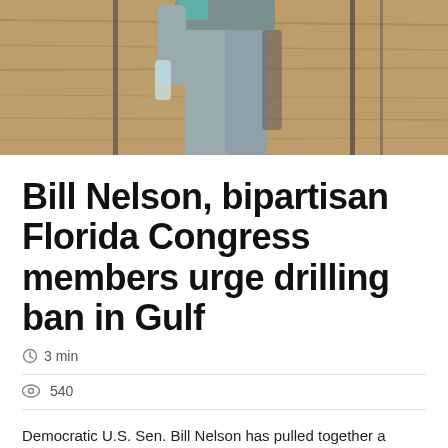[Figure (photo): Partial photo of a person standing, cropped at the waist, with a wooden background. Only the lower body is visible.]
Bill Nelson, bipartisan Florida Congress members urge drilling ban in Gulf
3 min
540
Democratic U.S. Sen. Bill Nelson has pulled together a bipartisan group of Florida congressmen to sign a letter urging the administration of President Donald Trump to not permit off-shore oil near Florida's Gulf Coast. In a